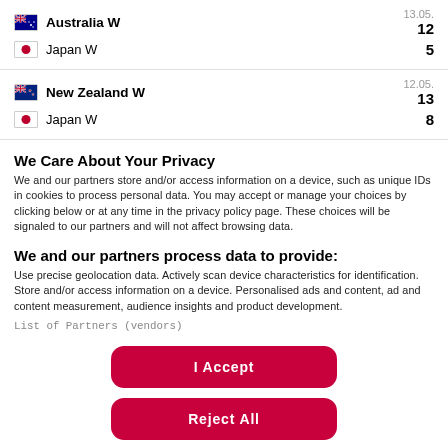| Team | Date | Score |
| --- | --- | --- |
| Australia W | 13.05. | 12 |
| Japan W |  | 5 |
| Team | Date | Score |
| --- | --- | --- |
| New Zealand W | 12.05. | 13 |
| Japan W |  | 8 |
We Care About Your Privacy
We and our partners store and/or access information on a device, such as unique IDs in cookies to process personal data. You may accept or manage your choices by clicking below or at any time in the privacy policy page. These choices will be signaled to our partners and will not affect browsing data.
We and our partners process data to provide:
Use precise geolocation data. Actively scan device characteristics for identification. Store and/or access information on a device. Personalised ads and content, ad and content measurement, audience insights and product development.
List of Partners (vendors)
I Accept
Reject All
Show Purposes